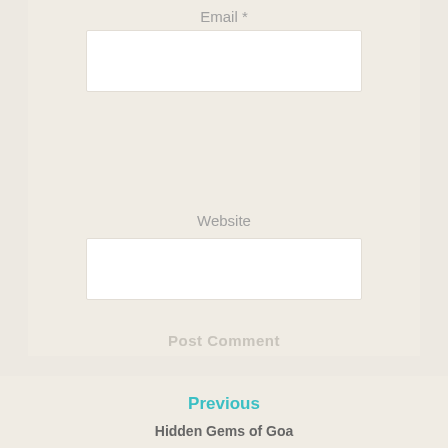Email *
Website
Post Comment
Previous
Hidden Gems of Goa